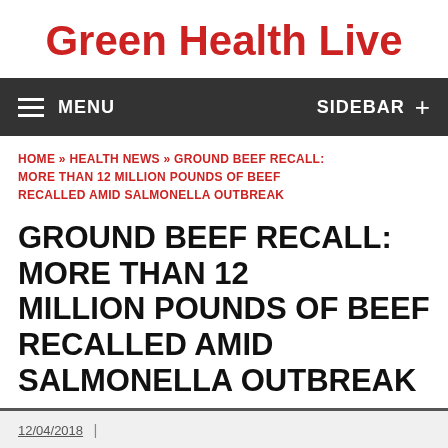Green Health Live
MENU   SIDEBAR +
HOME » HEALTH NEWS » GROUND BEEF RECALL: MORE THAN 12 MILLION POUNDS OF BEEF RECALLED AMID SALMONELLA OUTBREAK
GROUND BEEF RECALL: MORE THAN 12 MILLION POUNDS OF BEEF RECALLED AMID SALMONELLA OUTBREAK
12/04/2018